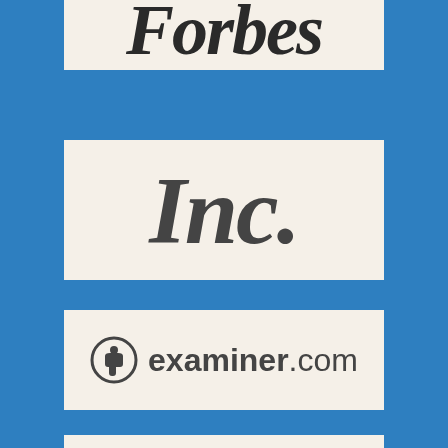[Figure (logo): Forbes magazine logo — italic serif bold text, partially cropped at top]
[Figure (logo): Inc. magazine logo — bold italic serif text in dark gray on white background]
[Figure (logo): examiner.com logo — circular person icon followed by examiner.com text]
[Figure (logo): TechCo logo — bold sans-serif uppercase text with stylized H and exclamation dot]